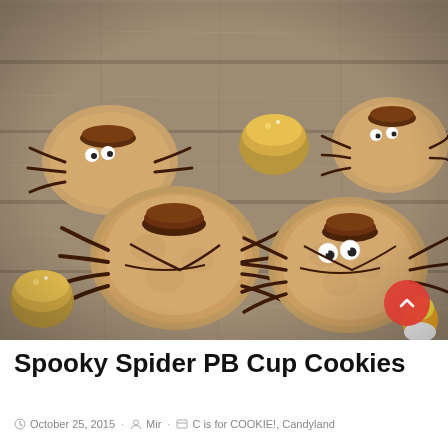[Figure (photo): Photo of peanut butter cookies decorated as spider characters, with Reese's peanut butter cups on top as spider bodies, chocolate drizzle legs, and candy eyes, arranged on a wooden surface with Ferrero Rocher chocolates and candy corn nearby.]
Spooky Spider PB Cup Cookies
October 25, 2015  Mir  C is for COOKIE!, Candyland